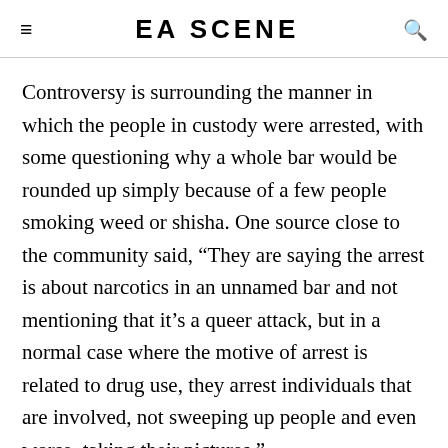EA SCENE
Controversy is surrounding the manner in which the people in custody were arrested, with some questioning why a whole bar would be rounded up simply because of a few people smoking weed or shisha. One source close to the community said, “They are saying the arrest is about narcotics in an unnamed bar and not mentioning that it’s a queer attack, but in a normal case where the motive of arrest is related to drug use, they arrest individuals that are involved, not sweeping up people and even worse, taking their pictures.”